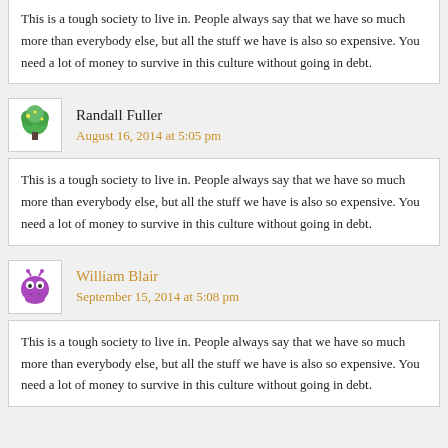This is a tough society to live in. People always say that we have so much more than everybody else, but all the stuff we have is also so expensive. You need a lot of money to survive in this culture without going in debt.
Randall Fuller
August 16, 2014 at 5:05 pm
This is a tough society to live in. People always say that we have so much more than everybody else, but all the stuff we have is also so expensive. You need a lot of money to survive in this culture without going in debt.
William Blair
September 15, 2014 at 5:08 pm
This is a tough society to live in. People always say that we have so much more than everybody else, but all the stuff we have is also so expensive. You need a lot of money to survive in this culture without going in debt.